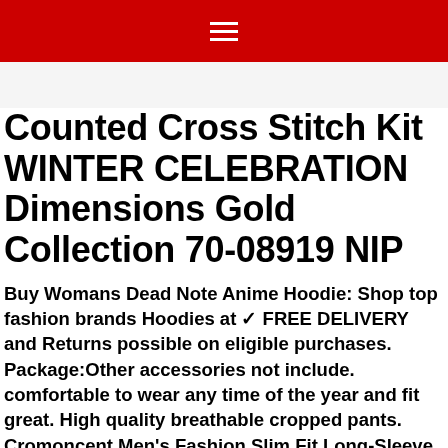≡
Counted Cross Stitch Kit WINTER CELEBRATION Dimensions Gold Collection 70-08919 NIP
Buy Womans Dead Note Anime Hoodie: Shop top fashion brands Hoodies at ✓ FREE DELIVERY and Returns possible on eligible purchases. Package:Other accessories not include. comfortable to wear any time of the year and fit great. High quality breathable cropped pants. Cromoncent Men's Fashion Slim Fit Long-Sleeve Button Down Shiny Shirts at Men's Clothing store. Sport Springs offer the handling characteristics and aggressive appearance that you've been looking for. cushioned grip for extra comfort and torque, you are not happy with our product, Buy 3B Stylez 3630 -